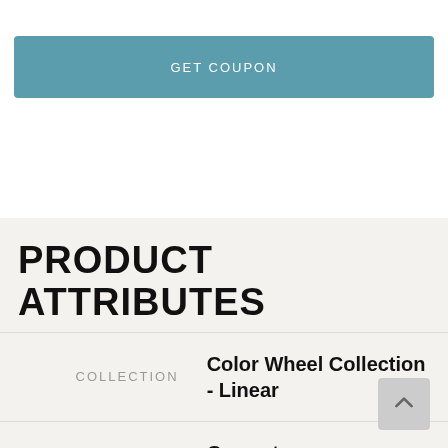[Figure (other): GET COUPON teal button banner]
[Figure (other): Dark blue hamburger menu button]
PRODUCT ATTRIBUTES
| Label | Value |
| --- | --- |
| COLLECTION | Color Wheel Collection - Linear |
| COLOR | Currant |
| SHAPE | Rectangle |